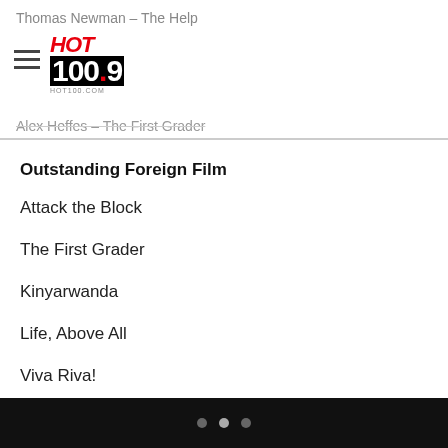Thomas Newman – The Help
Alex Heffes – The First Grader
Outstanding Foreign Film
Attack the Block
The First Grader
Kinyarwanda
Life, Above All
Viva Riva!
Outstanding Feature Documentary
• • •